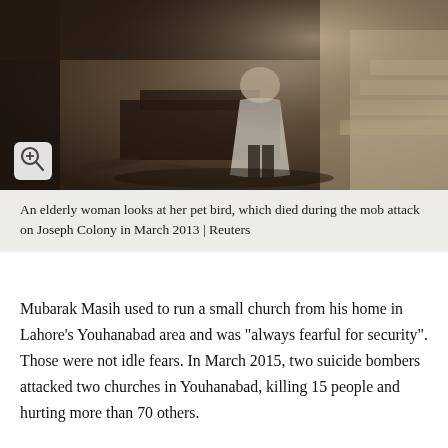[Figure (photo): An elderly woman wrapped in a white shawl stands among debris in a ruined, fire-damaged interior of a home, looking at her surroundings. The walls are blackened and damaged. A magnify/zoom icon appears in the lower left of the image.]
An elderly woman looks at her pet bird, which died during the mob attack on Joseph Colony in March 2013 | Reuters
Mubarak Masih used to run a small church from his home in Lahore’s Youhanabad area and was “always fearful for security”. Those were not idle fears. In March 2015, two suicide bombers attacked two churches in Youhanabad, killing 15 people and hurting more than 70 others.